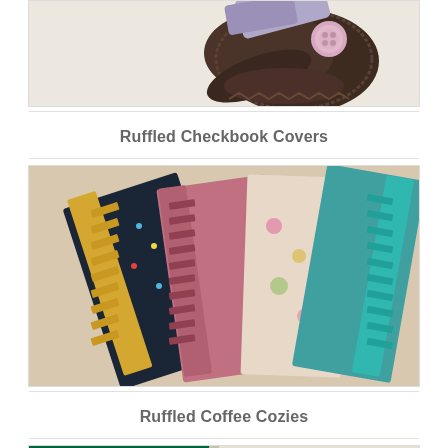[Figure (photo): Close-up photo of a decorative fabric flower/brooch with a pink button center, made from dark brown and purple/lavender ruffled fabric with lace trim, on a light cream background]
Ruffled Checkbook Covers
[Figure (photo): Photo of several ruffled checkbook covers fanned out, featuring different fabric patterns including dark floral with gold ruffles, pink satin, floral print with pink ruffles, and teal/turquoise with teal ruffles]
Ruffled Coffee Cozies
[Figure (photo): Partial photo showing ruffled coffee cozies including one with Starbucks logo branding and another light-colored cozy, partially visible at bottom of page]